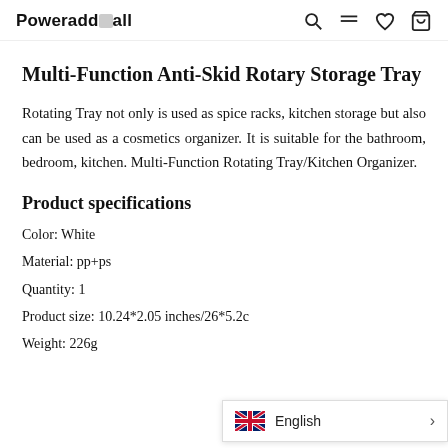Poweraddmall
Multi-Function Anti-Skid Rotary Storage Tray
Rotating Tray not only is used as spice racks, kitchen storage but also can be used as a cosmetics organizer. It is suitable for the bathroom, bedroom, kitchen. Multi-Function Rotating Tray/Kitchen Organizer.
Product specifications
Color: White
Material: pp+ps
Quantity: 1
Product size: 10.24*2.05 inches/26*5.2c
Weight: 226g